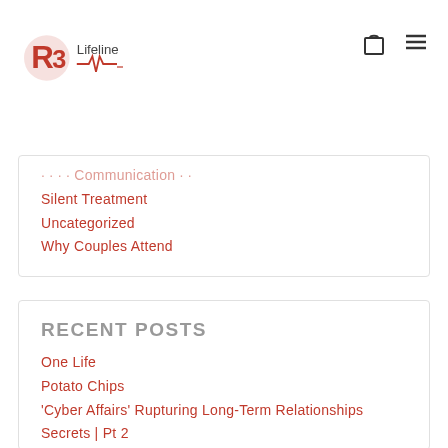R3 Lifeline
Poor Communication
Silent Treatment
Uncategorized
Why Couples Attend
RECENT POSTS
One Life
Potato Chips
'Cyber Affairs' Rupturing Long-Term Relationships
Secrets | Pt 2